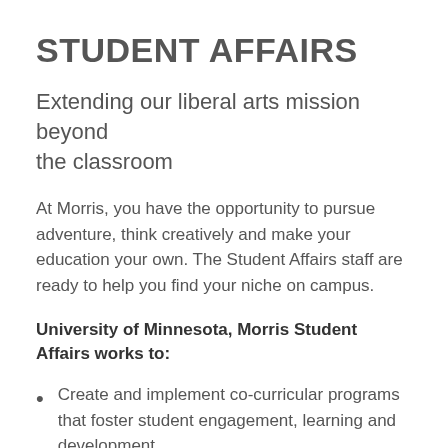STUDENT AFFAIRS
Extending our liberal arts mission beyond the classroom
At Morris, you have the opportunity to pursue adventure, think creatively and make your education your own. The Student Affairs staff are ready to help you find your niche on campus.
University of Minnesota, Morris Student Affairs works to:
Create and implement co-curricular programs that foster student engagement, learning and development